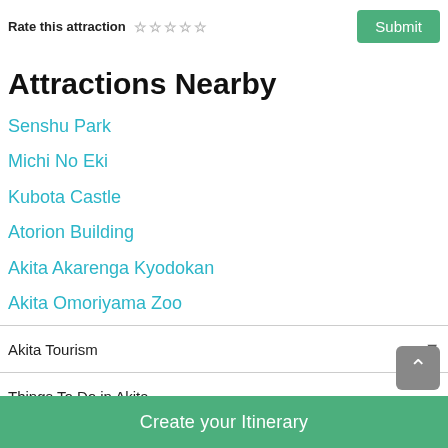Rate this attraction ☆ ☆ ☆ ☆ ☆   Submit
Attractions Nearby
Senshu Park
Michi No Eki
Kubota Castle
Atorion Building
Akita Akarenga Kyodokan
Akita Omoriyama Zoo
Akita Tourism
Things To Do in Akita
Akita Itineraries
Create your Itinerary